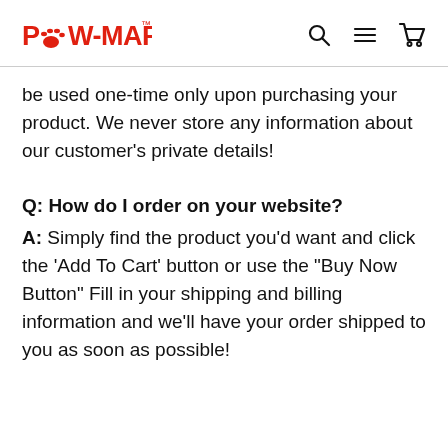PAW-MART
be used one-time only upon purchasing your product. We never store any information about our customer's private details!
Q: How do I order on your website?
A: Simply find the product you'd want and click the 'Add To Cart' button or use the "Buy Now Button" Fill in your shipping and billing information and we'll have your order shipped to you as soon as possible!